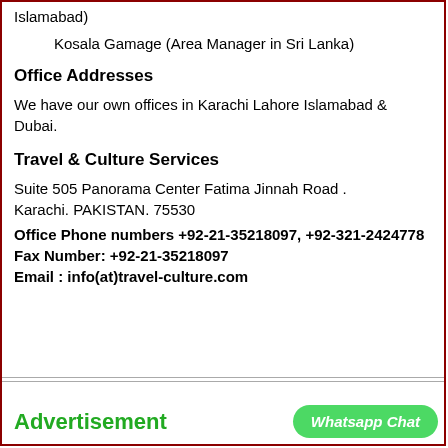Islamabad)
Kosala Gamage (Area Manager in Sri Lanka)
Office Addresses
We have our own offices in Karachi Lahore Islamabad & Dubai.
Travel & Culture Services
Suite 505 Panorama Center Fatima Jinnah Road . Karachi. PAKISTAN. 75530
Office Phone numbers +92-21-35218097, +92-321-2424778
Fax Number: +92-21-35218097
Email : info(at)travel-culture.com
Advertisement
Whatsapp Chat